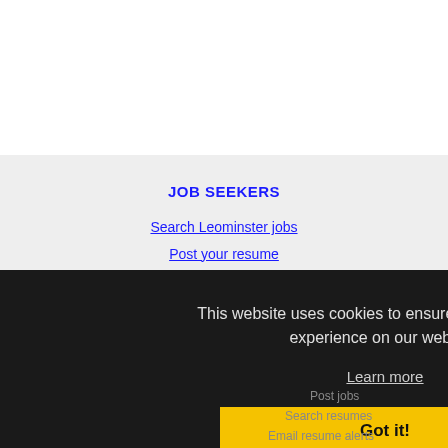JOB SEEKERS
Search Leominster jobs
Post your resume
Email job alerts
Register / Log in
This website uses cookies to ensure you get the best experience on our website.
Learn more
Got it!
Post jobs
Search resumes
Email resume alerts
Advertise